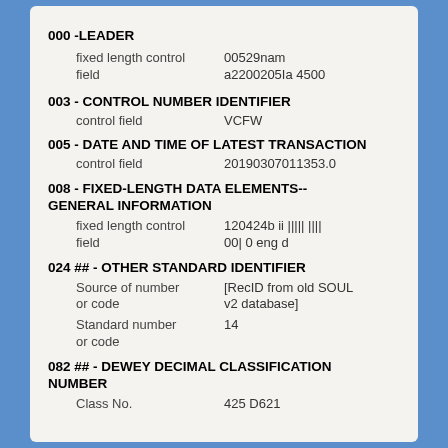000 -LEADER
fixed length control field    00529nam a2200205Ia 4500
003 - CONTROL NUMBER IDENTIFIER
control field    VCFW
005 - DATE AND TIME OF LATEST TRANSACTION
control field    20190307011353.0
008 - FIXED-LENGTH DATA ELEMENTS--GENERAL INFORMATION
fixed length control field    120424b ii ||||| |||| 00| 0 eng d
024 ## - OTHER STANDARD IDENTIFIER
Source of number or code    [RecID from old SOUL v2 database]
Standard number or code    14
082 ## - DEWEY DECIMAL CLASSIFICATION NUMBER
Class No.    425 D621